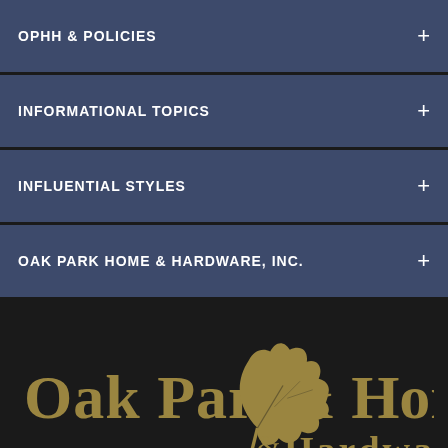OPHH & POLICIES +
INFORMATIONAL TOPICS +
INFLUENTIAL STYLES +
OAK PARK HOME & HARDWARE, INC. +
[Figure (logo): Oak Park Home & Hardware logo with oak leaf graphic in gold/tan on dark background]
[Figure (infographic): Social media icons row: Instagram, Facebook, Twitter, Google+, Pinterest — circular dark grey buttons with white icons. Rewards button (orange pill) bottom left. Scroll-to-top button (orange square) bottom right.]